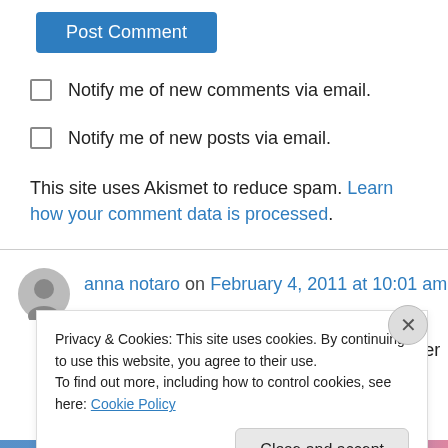Post Comment
Notify me of new comments via email.
Notify me of new posts via email.
This site uses Akismet to reduce spam. Learn how your comment data is processed.
anna notaro on February 4, 2011 at 10:01 am
How can he come up with such an idea after the
Privacy & Cookies: This site uses cookies. By continuing to use this website, you agree to their use. To find out more, including how to control cookies, see here: Cookie Policy
Close and accept